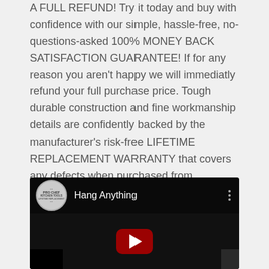A FULL REFUND! Try it today and buy with confidence with our simple, hassle-free, no-questions-asked 100% MONEY BACK SATISFACTION GUARANTEE! If for any reason you aren't happy we will immediatly refund your full purchase price. Tough durable construction and fine workmanship details are confidently backed by the manufacturer's risk-free LIFETIME REPLACEMENT WARRANTY that covers any defects when purchased from authorized resellers.
[Figure (screenshot): YouTube video thumbnail for 'Hang Anything' by Pro Chef Kitchen Tools channel. Shows a dark video player interface with the Pro Chef Kitchen Tools circular logo on the left, video title 'Hang Anything', a three-dot menu icon, and a red YouTube play button over a dark background showing kitchen tool hooks.]